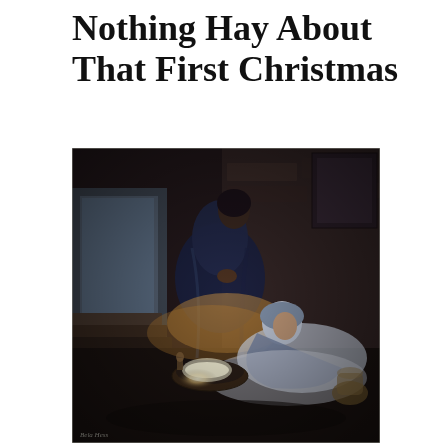Nothing Hay About That First Christmas
[Figure (illustration): A dark oil painting depicting the Nativity scene. A figure in a dark blue cloak (Joseph) stands and looks down at a glowing infant lying in a manger. Mary, in blue and white robes, reclines on the ground beside the manger. The setting is a dimly lit stable interior with stone steps and an open doorway in the background letting in faint light. The baby Jesus emits a warm glow illuminating the scene. A small signature is visible in the lower left corner.]